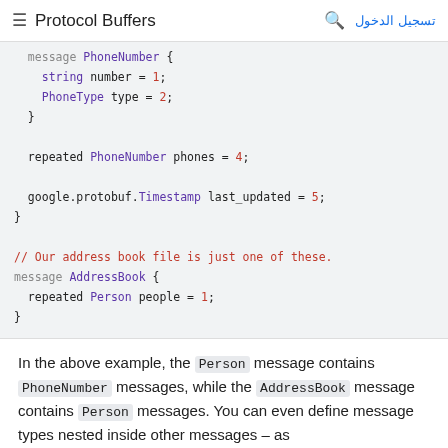≡  Protocol Buffers    🔍  تسجيل الدخول
message PhoneNumber {
  string number = 1;
  PhoneType type = 2;
}

repeated PhoneNumber phones = 4;

google.protobuf.Timestamp last_updated = 5;
}

// Our address book file is just one of these.
message AddressBook {
  repeated Person people = 1;
}
In the above example, the Person message contains PhoneNumber messages, while the AddressBook message contains Person messages. You can even define message types nested inside other messages – as